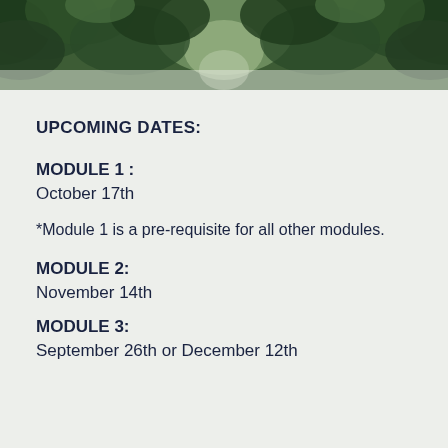[Figure (photo): Aerial or top-down view of a forest path through dense green trees, partially obscured, used as decorative header image]
UPCOMING DATES:
MODULE 1 :
October 17th
*Module 1 is a pre-requisite for all other modules.
MODULE 2:
November 14th
MODULE 3:
September 26th or December 12th